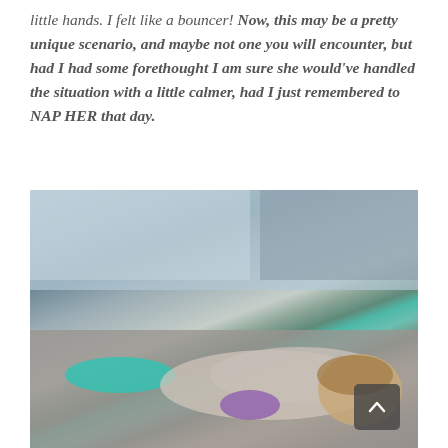little hands. I felt like a bouncer! Now, this may be a pretty unique scenario, and maybe not one you will encounter, but had I had some forethought I am sure she would've handled the situation with a little calmer, had I just remembered to NAP HER that day.
[Figure (photo): A young toddler lying face-down asleep on a carpeted floor in what appears to be an airport terminal, wearing teal leggings and a patterned grey top, with a purple stuffed toy under her arms. Background shows terminal seating and windows.]